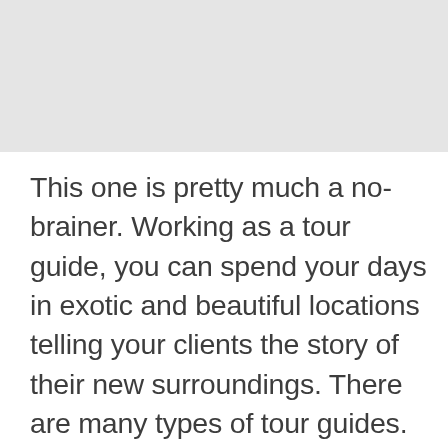[Figure (photo): Gray placeholder image area at the top of the page]
This one is pretty much a no-brainer. Working as a tour guide, you can spend your days in exotic and beautiful locations telling your clients the story of their new surroundings. There are many types of tour guides. Some guides are just required to lead a group around a single town for one day, while others specialize in tours that last weeks and visit multiple locations. You do